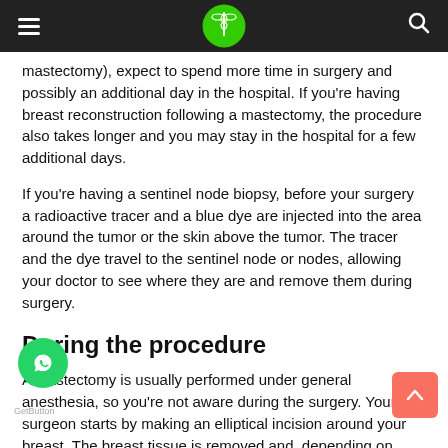Navigation header with hamburger menu, logo, and search icon
mastectomy), expect to spend more time in surgery and possibly an additional day in the hospital. If you're having breast reconstruction following a mastectomy, the procedure also takes longer and you may stay in the hospital for a few additional days.
If you're having a sentinel node biopsy, before your surgery a radioactive tracer and a blue dye are injected into the area around the tumor or the skin above the tumor. The tracer and the dye travel to the sentinel node or nodes, allowing your doctor to see where they are and remove them during surgery.
During the procedure
A mastectomy is usually performed under general anesthesia, so you're not aware during the surgery. Your surgeon starts by making an elliptical incision around your breast. The breast tissue is removed and, depending on your procedure, other parts of the breast also may be removed.